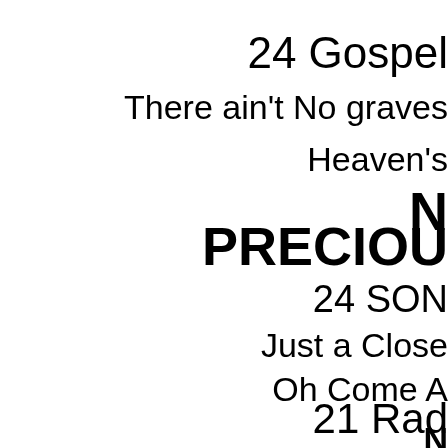24 Gospel
There ain't No graves
Heaven's
PRECIOU
24 SON
Just a Close
Oh Come A
N
21 Rad
21 RADIO FA